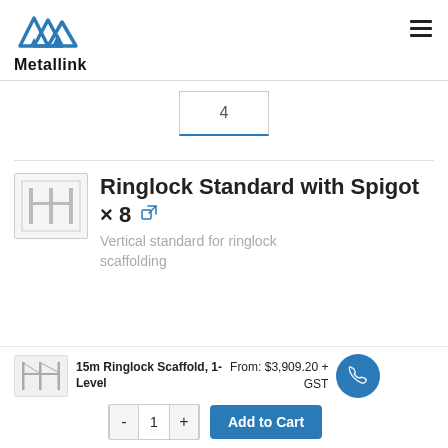[Figure (logo): Metallink logo with blue triangle/mountain graphic above the word Metallink in bold black]
4
Ringlock Standard with Spigot × 8 ↗
Vertical standard for ringlock scaffolding
[Figure (photo): Small thumbnail of 15m Ringlock Scaffold product]
15m Ringlock Scaffold, 1-Level
From: $3,909.20 + GST
- 1 +
Add to Cart